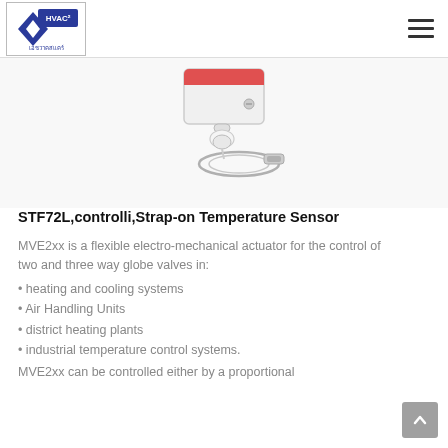HVAC² เอชวาคสแคร์ — navigation header with hamburger menu
[Figure (photo): Strap-on temperature sensor product photo showing a white rectangular housing with a red accent, cable gland, and stainless steel hose clamp for pipe mounting]
STF72L,controlli,Strap-on Temperature Sensor
MVE2xx is a flexible electro-mechanical actuator for the control of two and three way globe valves in:
• heating and cooling systems
• Air Handling Units
• district heating plants
• industrial temperature control systems.
MVE2xx can be controlled either by a proportional